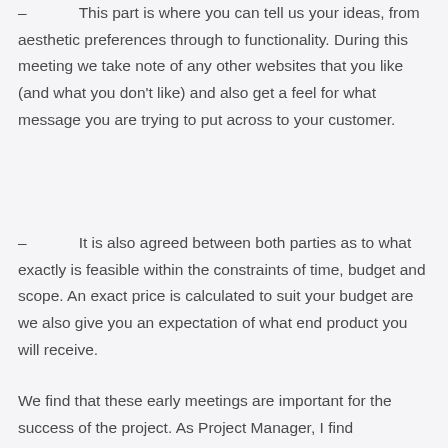– This part is where you can tell us your ideas, from aesthetic preferences through to functionality. During this meeting we take note of any other websites that you like (and what you don't like) and also get a feel for what message you are trying to put across to your customer.
– It is also agreed between both parties as to what exactly is feasible within the constraints of time, budget and scope. An exact price is calculated to suit your budget are we also give you an expectation of what end product you will receive.
We find that these early meetings are important for the success of the project. As Project Manager, I find